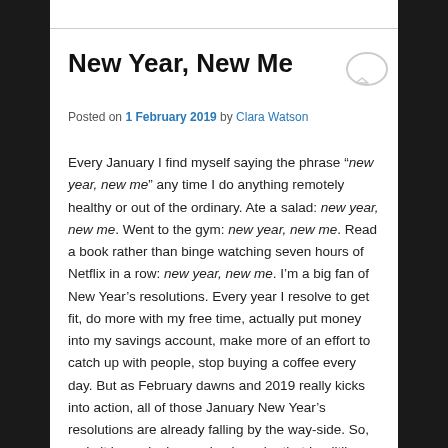New Year, New Me
Posted on 1 February 2019 by Clara Watson
Every January I find myself saying the phrase “new year, new me” any time I do anything remotely healthy or out of the ordinary. Ate a salad: new year, new me. Went to the gym: new year, new me. Read a book rather than binge watching seven hours of Netflix in a row: new year, new me. I’m a big fan of New Year’s resolutions. Every year I resolve to get fit, do more with my free time, actually put money into my savings account, make more of an effort to catch up with people, stop buying a coffee every day. But as February dawns and 2019 really kicks into action, all of those January New Year’s resolutions are already falling by the way-side. So, as I sit here sipping my iced mocha that I guiltily spent seven dollars on, I can’t help but wonder if the nineteenth century residents of Christchurch were also in the habit of making (and breaking) New Year’s resolutions.